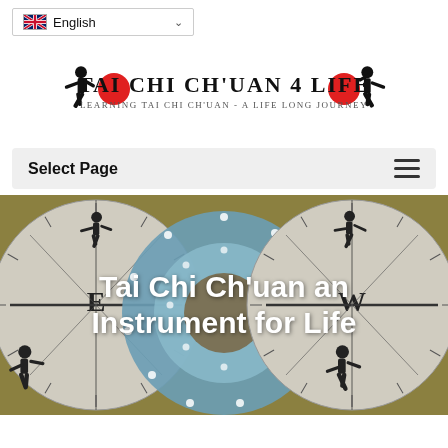English (language selector)
[Figure (logo): Tai Chi Ch'uan 4 Life logo with two martial arts silhouette figures in black flanking the title text, red circles as accents. Subtitle: Learning Tai Chi Ch'uan - A Life Long Journey]
Select Page (navigation menu toggle)
[Figure (illustration): Hero image showing a large circular arrangement of Tai Chi practitioners on a blue/teal background, flanked by two compass-dial graphics on an olive/gold background. The compass dials show East (E) on the left and West (W) on the right, with silhouettes of martial arts poses at cardinal points.]
Tai Chi Ch'uan an Instrument for Life